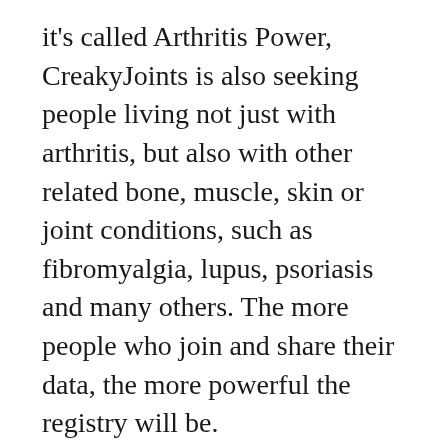it's called Arthritis Power, CreakyJoints is also seeking people living not just with arthritis, but also with other related bone, muscle, skin or joint conditions, such as fibromyalgia, lupus, psoriasis and many others. The more people who join and share their data, the more powerful the registry will be.
Patient-led research, like Arthritis Power, is important because patients can express how research will directly impact their lives. In addition to advancing arthritis research, what I particularly like about the application is that I can access my personal data and send progress reports to my physician, which means we can discuss my ups and downs